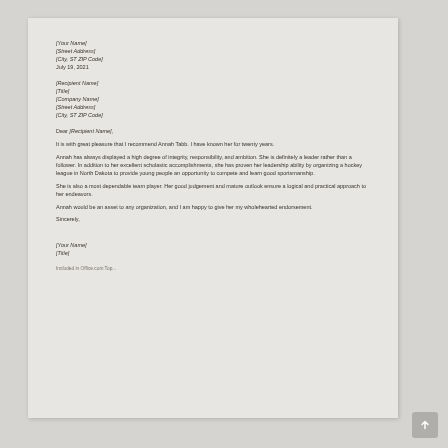[Your Name]
[Street Address]
[City, ST ZIP Code]
July 19, 2021
[Recipient Name]
[Title]
[Company Name]
[Street Address]
[City, ST ZIP Code]
Dear [Recipient Name],
It is with great pleasure that I recommend Annah Tabb. I have known her for twenty years.
Annah has always displayed a high degree of integrity, responsibility, and ambition. She is definitely a leader rather than a follower. In addition to her excellent scholastic accomplishments, she has proven her leadership ability by organizing a hockey league in North Dakota to provide young people an opportunity to compete and learn good sportsmanship.
She is also a most dependable team player. Her good judgement and mature outlook ensure a logical and practical approach to her endeavors.
Annah would be an asset to any organization, and I am happy to give her my wholehearted endorsement.
Sincerely,
[Your Name]
[Title]
Included in Office.com Top...